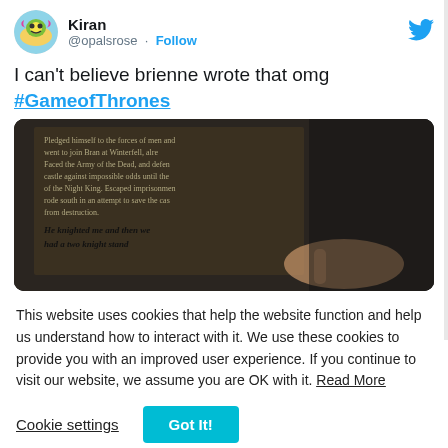Kiran @opalsrose · Follow
I can't believe brienne wrote that omg #GameofThrones
[Figure (photo): A dark photo of a book page with handwritten text including 'He knighted me and then we had a two knight stand']
This website uses cookies that help the website function and help us understand how to interact with it. We use these cookies to provide you with an improved user experience. If you continue to visit our website, we assume you are OK with it. Read More
Cookie settings
Got It!